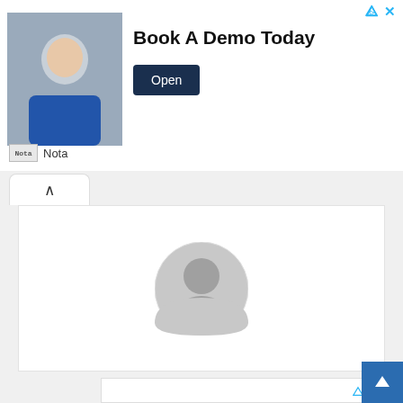[Figure (infographic): Top advertisement banner: man in blue shirt at laptop, text 'Book A Demo Today', Open button, Nota branding]
[Figure (photo): Generic user avatar placeholder circle icon (gray)]
[Figure (infographic): Bottom advertisement: Student Information System - Sign Up & Request for Demo. Best student information system software for schools colleges and universities. try.orbund.com]